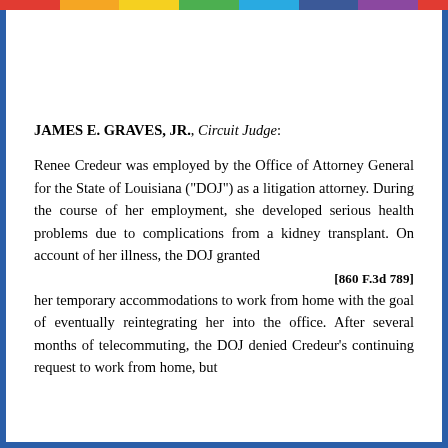JAMES E. GRAVES, JR., Circuit Judge:
Renee Credeur was employed by the Office of Attorney General for the State of Louisiana ("DOJ") as a litigation attorney. During the course of her employment, she developed serious health problems due to complications from a kidney transplant. On account of her illness, the DOJ granted
[860 F.3d 789]
her temporary accommodations to work from home with the goal of eventually reintegrating her into the office. After several months of telecommuting, the DOJ denied Credeur's continuing request to work from home, but